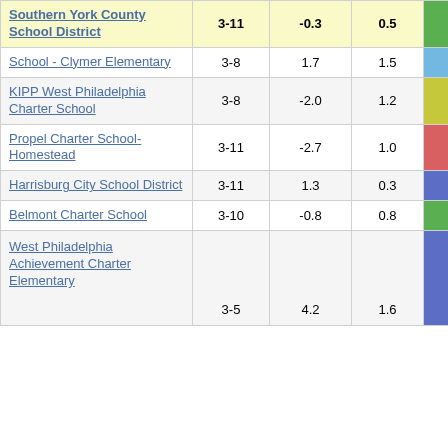| School/District | Grades |  |  | Score |
| --- | --- | --- | --- | --- |
| Southern York County School District | 3-11 | -0.3 | 0.5 | -0.61 |
| School - Clymer Elementary | 3-8 | 1.7 | 1.5 | 1.25 |
| KIPP West Philadelphia Charter School | 3-8 | -2.0 | 1.2 | -1.75 |
| Propel Charter School-Homestead | 3-11 | -2.7 | 1.0 | -2.78 |
| Harrisburg City School District | 3-11 | 1.3 | 0.3 | 3.72 |
| Belmont Charter School | 3-10 | -0.8 | 0.8 | -0.98 |
| West Philadelphia Achievement Charter Elementary | 3-5 | 4.2 | 1.6 | 2.63 |